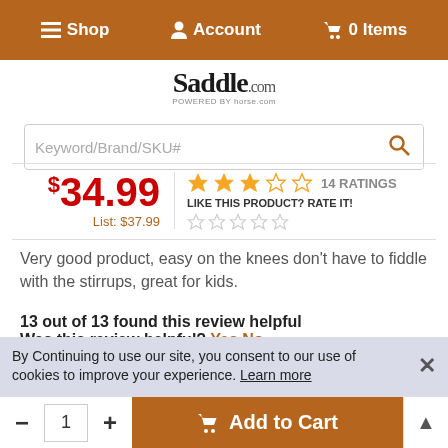Shop   Account   0 Items
Saddle.com
Keyword/Brand/SKU#
$34.99  List: $37.99  ★★★☆☆ 14 RATINGS  LIKE THIS PRODUCT? RATE IT!
Very good product, easy on the knees don't have to fiddle with the stirrups, great for kids.
13 out of 13 found this review helpful
Was this review helpful? Yes No
Overall: ★★★★☆
Quality: ★★★★☆
By Continuing to use our site, you consent to our use of cookies to improve your experience. Learn more
- 1 + Add to Cart